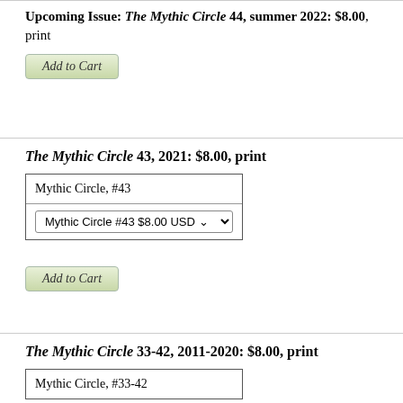Upcoming Issue: The Mythic Circle 44, summer 2022: $8.00, print
[Figure (other): Add to Cart button]
The Mythic Circle 43, 2021: $8.00, print
[Figure (other): PayPal cart widget with Mythic Circle, #43 and dropdown Mythic Circle #43 $8.00 USD]
[Figure (other): Add to Cart button]
The Mythic Circle 33-42, 2011-2020: $8.00, print
[Figure (other): PayPal cart widget with Mythic Circle, #33-42]